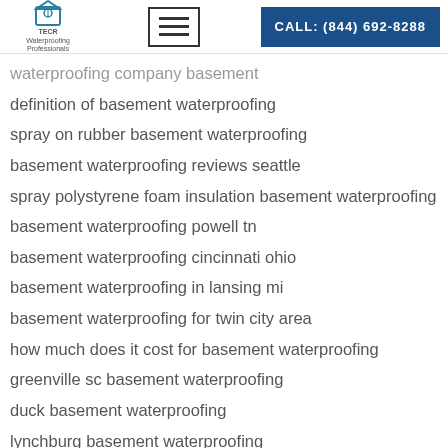TECR | Waterproofing Professionals | CALL: (844) 692-8288
waterproofing company basement
definition of basement waterproofing
spray on rubber basement waterproofing
basement waterproofing reviews seattle
spray polystyrene foam insulation basement waterproofing
basement waterproofing powell tn
basement waterproofing cincinnati ohio
basement waterproofing in lansing mi
basement waterproofing for twin city area
how much does it cost for basement waterproofing
greenville sc basement waterproofing
duck basement waterproofing
lynchburg basement waterproofing
interior basement waterproofing stone foundation
pvc basement waterproofing mandate city of chicago